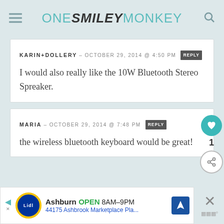ONE SMILEY MONKEY
KARIN+DOLLERY – OCTOBER 29, 2014 @ 4:50 PM REPLY
I would also really like the 10W Bluetooth Stereo Spreaker.
MARIA – OCTOBER 29, 2014 @ 7:48 PM REPLY
the wireless bluetooth keyboard would be great!
Ashburn OPEN 8AM–9PM 44175 Ashbrook Marketplace Pla...